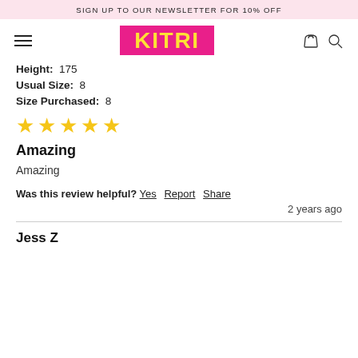SIGN UP TO OUR NEWSLETTER FOR 10% OFF
[Figure (logo): KITRI logo in yellow text on pink/magenta background, with hamburger menu icon on left and bag/search icons on right]
Height: 175
Usual Size: 8
Size Purchased: 8
[Figure (other): 4 filled yellow stars rating out of 5]
Amazing
Amazing
Was this review helpful? Yes Report Share
2 years ago
Jess Z